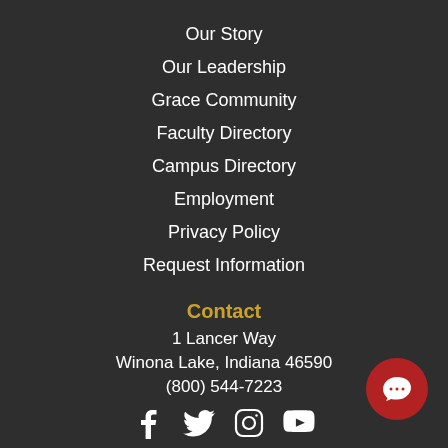Our Story
Our Leadership
Grace Community
Faculty Directory
Campus Directory
Employment
Privacy Policy
Request Information
Contact
1 Lancer Way
Winona Lake, Indiana 46590
(800) 544-7223
[Figure (infographic): Social media icons: Facebook, Twitter, Instagram, YouTube]